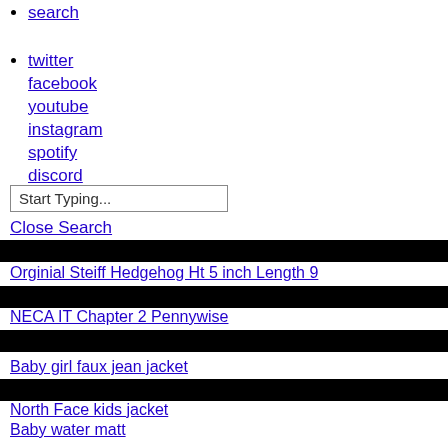search
twitter
facebook
youtube
instagram
spotify
discord
Start Typing...
Close Search
Orginial Steiff Hedgehog Ht 5 inch Length 9
NECA IT Chapter 2 Pennywise
Baby girl faux jean jacket
North Face kids jacket
Baby water matt
Color Street nails
WEN APPLE SPICE CLEANSING 32oz